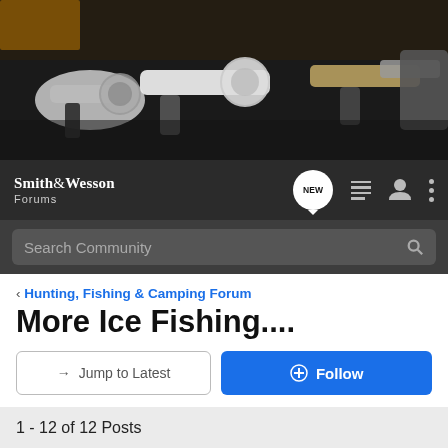[Figure (photo): Hero banner photo of multiple handguns including revolvers and semi-automatic pistols displayed on a dark background]
[Figure (screenshot): Smith & Wesson Forums navigation bar with logo, NEW badge, hamburger menu, user icon, and more options dots]
Search Community
< Hunting, Fishing & Camping Forum
More Ice Fishing....
→ Jump to Latest
+ Follow
1 - 12 of 12 Posts
Sebago Son · Registered
Joined Jan 17, 2009 · 6,488 Posts